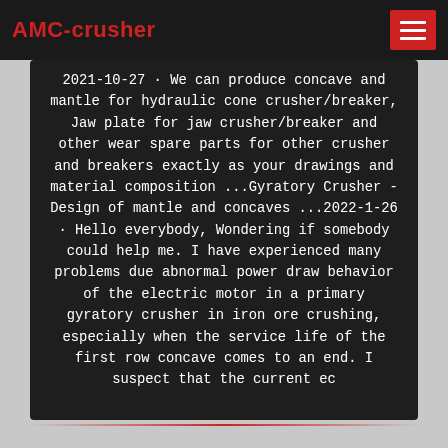AMC-crusher
2021-10-27 · We can produce concave and mantle for hydraulic cone crusher/breaker, Jaw plate for jaw crusher/breaker and other wear spare parts for other crusher and breakers exactly as your drawings and material composition ...Gyratory Crusher - Design of mantle and concaves ...2022-1-26 · Hello everybody, Wondering if somebody could help me. I have experienced many problems due abnormal power draw behavior of the electric motor in a primary gyratory crusher in iron ore crushing, especially when the service life of the first row concave comes to an end. I suspect that the current ec